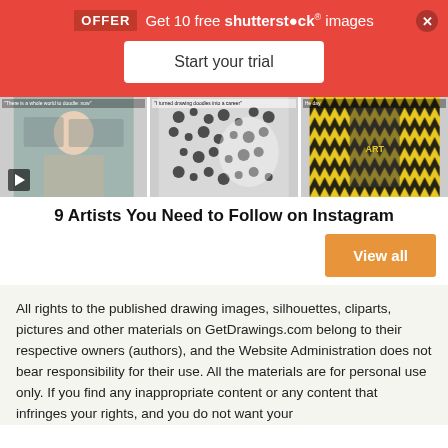[Figure (screenshot): Red promotional banner for Shutterstock offer with 'OFFER Get 10 free shutterstock images' text and 'Start your trial' button]
[Figure (photo): Three article preview images showing: a man in a patterned shirt with video play button, a black-and-white doodle artwork, and colorful yellow/black graphic art/skateboards]
9 Artists You Need to Follow on Instagram
View all
All rights to the published drawing images, silhouettes, cliparts, pictures and other materials on GetDrawings.com belong to their respective owners (authors), and the Website Administration does not bear responsibility for their use. All the materials are for personal use only. If you find any inappropriate content or any content that infringes your rights, and you do not want your